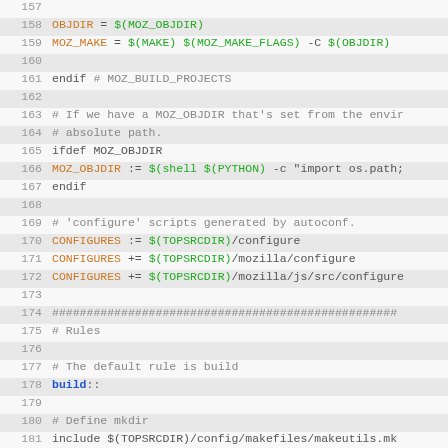[Figure (screenshot): Source code editor view showing Makefile lines 157-188 with syntax highlighting. Orange for variable names, green for make variable expansions like $(MAKE), blue for keywords like build, gray for comments.]